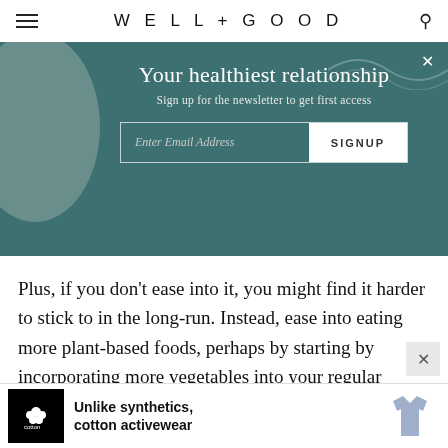WELL+GOOD
Your healthiest relationship
Sign up for the newsletter to get first access
Plus, if you don't ease into it, you might find it harder to stick to in the long-run. Instead, ease into eating more plant-based foods, perhaps by starting by incorporating more vegetables into your regular rotation, then starting to scale back on processed
[Figure (infographic): Cotton activewear advertisement banner at bottom of page, showing cotton logo, text 'Unlike synthetics, cotton activewear' and a blue t-shirt image]